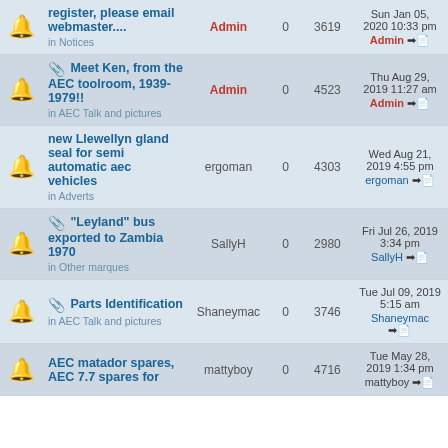|  | Topic | Author | Replies | Views | Last post |
| --- | --- | --- | --- | --- | --- |
| [icon] | register, please email webmaster.... in Notices | Admin | 0 | 3619 | Sun Jan 05, 2020 10:33 pm Admin |
| [icon] | [clip] Meet Ken, from the AEC toolroom, 1939-1979!! in AEC Talk and pictures | Admin | 0 | 4523 | Thu Aug 29, 2019 11:27 am Admin |
| [icon] | new Llewellyn gland seal for semi automatic aec vehicles in Adverts | ergoman | 0 | 4303 | Wed Aug 21, 2019 4:55 pm ergoman |
| [icon] | [clip] "Leyland" bus exported to Zambia 1970 in Other marques | SallyH | 0 | 2980 | Fri Jul 26, 2019 3:34 pm SallyH |
| [icon] | [clip] Parts Identification in AEC Talk and pictures | Shaneymac | 0 | 3746 | Tue Jul 09, 2019 5:15 am Shaneymac |
| [icon] | AEC matador spares, AEC 7.7 spares for... | mattyboy | 0 | 4716 | Tue May 28, 2019 1:34 pm mattyboy |